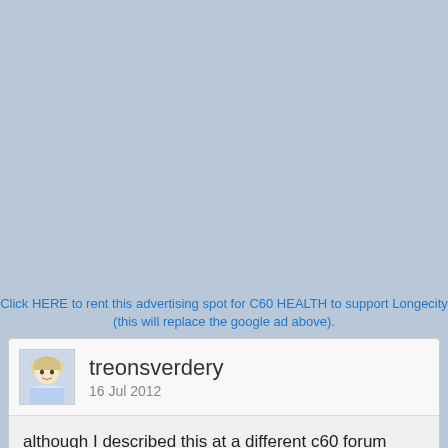[Figure (other): Large light blue/grey advertisement placeholder area]
Click HERE to rent this advertising spot for C60 HEALTH to support Longecity (this will replace the google ad above).
treonsverdery
16 Jul 2012
although I described this at a different c60 forum area, a possibly similar material, Nitrogen containing carbon, caused N=155 "vistar" rats to live 26.9 pct longer.